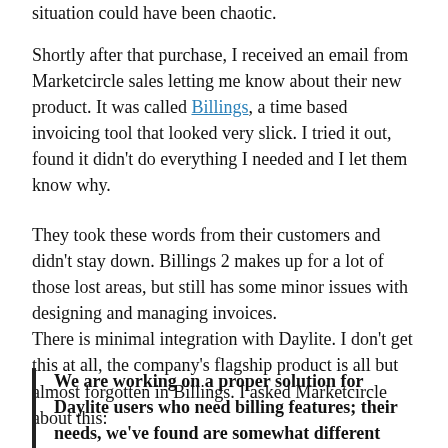situation could have been chaotic.
Shortly after that purchase, I received an email from Marketcircle sales letting me know about their new product. It was called Billings, a time based invoicing tool that looked very slick. I tried it out, found it didn't do everything I needed and I let them know why.
They took these words from their customers and didn't stay down. Billings 2 makes up for a lot of those lost areas, but still has some minor issues with designing and managing invoices.
There is minimal integration with Daylite. I don't get this at all, the company's flagship product is all but almost forgotten in Billings. I asked Marketcircle about this:
We are working on a proper solution for Daylite users who need billing features; their needs, we've found are somewhat different than users